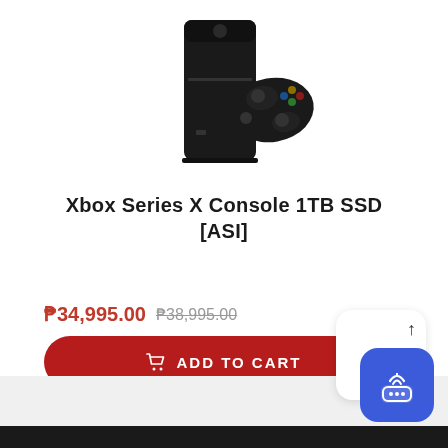[Figure (photo): Xbox Series X console with controller, black color, shown from front-side angle on white background]
Xbox Series X Console 1TB SSD [ASI]
₱34,995.00 ₱38,995.00
ADD TO CART